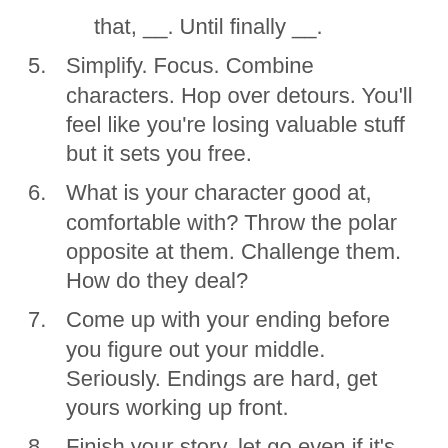that, __. Until finally __.
5. Simplify. Focus. Combine characters. Hop over detours. You'll feel like you're losing valuable stuff but it sets you free.
6. What is your character good at, comfortable with? Throw the polar opposite at them. Challenge them. How do they deal?
7. Come up with your ending before you figure out your middle. Seriously. Endings are hard, get yours working up front.
8. Finish your story, let go even if it's not perfect. In an ideal world you have both, but move on. Do better